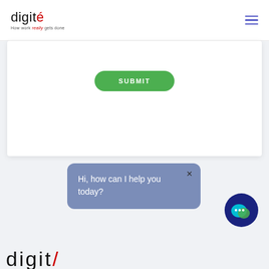[Figure (screenshot): Digite logo with tagline 'How work really gets done' and hamburger menu icon in the page header]
[Figure (screenshot): White form card with a green SUBMIT button visible]
[Figure (screenshot): Chat bot bubble saying 'Hi, how can I help you today?' with close X button, and a dark blue chat bot icon circle with speech bubble icon]
[Figure (screenshot): Partial Digite logo at the bottom of the page, cut off]